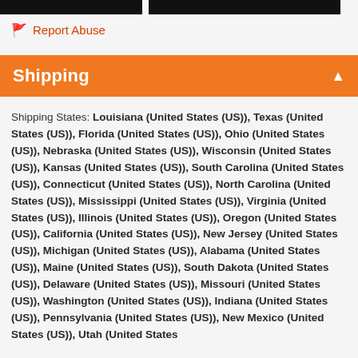[black header bars]
Report Abuse
Shipping
Shipping States: Louisiana (United States (US)), Texas (United States (US)), Florida (United States (US)), Ohio (United States (US)), Nebraska (United States (US)), Wisconsin (United States (US)), Kansas (United States (US)), South Carolina (United States (US)), Connecticut (United States (US)), North Carolina (United States (US)), Mississippi (United States (US)), Virginia (United States (US)), Illinois (United States (US)), Oregon (United States (US)), California (United States (US)), New Jersey (United States (US)), Michigan (United States (US)), Alabama (United States (US)), Maine (United States (US)), South Dakota (United States (US)), Delaware (United States (US)), Missouri (United States (US)), Washington (United States (US)), Indiana (United States (US)), Pennsylvania (United States (US)), New Mexico (United States (US)), Utah (United States